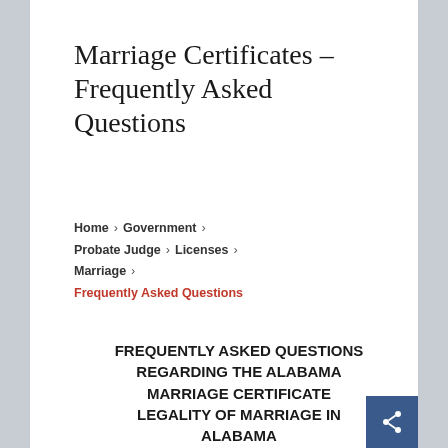Marriage Certificates – Frequently Asked Questions
Home > Government > Probate Judge > Licenses > Marriage > Frequently Asked Questions
FREQUENTLY ASKED QUESTIONS REGARDING THE ALABAMA MARRIAGE CERTIFICATE LEGALITY OF MARRIAGE IN ALABAMA
Q. How has the marriage process changed under the law passed in 2019 by the Alabama Legislature?